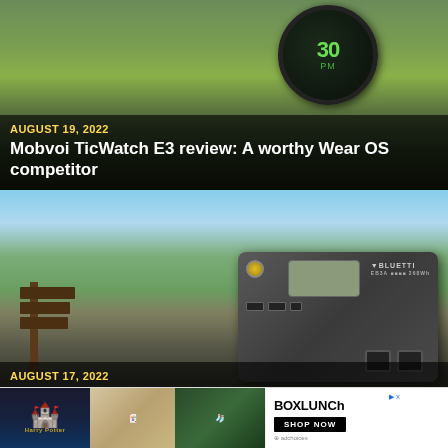[Figure (photo): Mobvoi TicWatch E3 smartwatch resting on a tennis ball, green blurred background]
AUGUST 19, 2022
Mobvoi TicWatch E3 review: A worthy Wear OS competitor
[Figure (photo): BLUETTI EB3A portable power station in outdoor mountain landscape setting]
AUGUST 17, 2022
BLUETTI EB3A Review: A Powerful Introduction
[Figure (photo): BoxLunch advertisement banner featuring Harry Potter merchandise, cards, socks, and BoxLunch logo with Shop Now button]